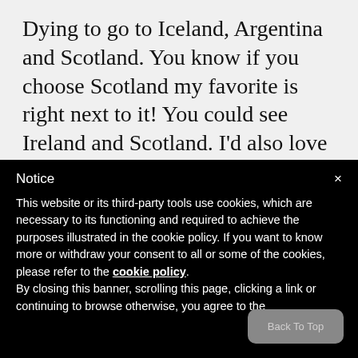Dying to go to Iceland, Argentina and Scotland. You know if you choose Scotland my favorite is right next to it! You could see Ireland and Scotland. I'd also love to go
Notice
This website or its third-party tools use cookies, which are necessary to its functioning and required to achieve the purposes illustrated in the cookie policy. If you want to know more or withdraw your consent to all or some of the cookies, please refer to the cookie policy. By closing this banner, scrolling this page, clicking a link or continuing to browse otherwise, you agree to the
Back To Top